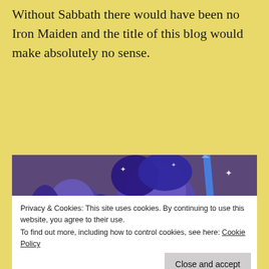Without Sabbath there would have been no Iron Maiden and the title of this blog would make absolutely no sense.
[Figure (photo): A street mural painted in blue and purple tones on a brick wall, depicting faces of musicians with long hair, one with a mustache holding something, and another figure with roses on the right side. Stars and sparkles are painted throughout.]
Privacy & Cookies: This site uses cookies. By continuing to use this website, you agree to their use. To find out more, including how to control cookies, see here: Cookie Policy
Close and accept